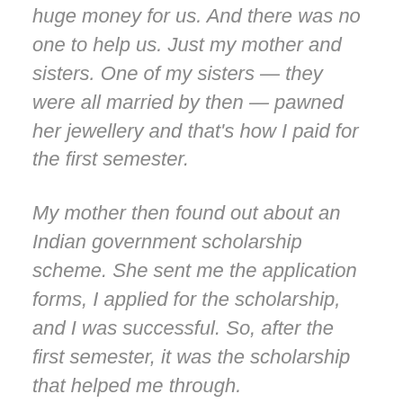huge money for us. And there was no one to help us. Just my mother and sisters. One of my sisters — they were all married by then — pawned her jewellery and that's how I paid for the first semester.
My mother then found out about an Indian government scholarship scheme. She sent me the application forms, I applied for the scholarship, and I was successful. So, after the first semester, it was the scholarship that helped me through.
It also helped me to pay my debt (to the sister who had pawned her jewellery). I then